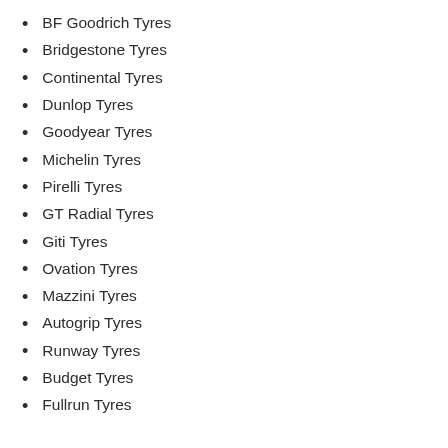BF Goodrich Tyres
Bridgestone Tyres
Continental Tyres
Dunlop Tyres
Goodyear Tyres
Michelin Tyres
Pirelli Tyres
GT Radial Tyres
Giti Tyres
Ovation Tyres
Mazzini Tyres
Autogrip Tyres
Runway Tyres
Budget Tyres
Fullrun Tyres